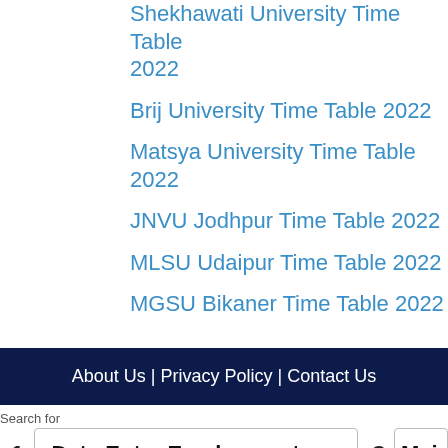Shekhawati University Time Table 2022
Brij University Time Table 2022
Matsya University Time Table 2022
JNVU Jodhpur Time Table 2022
MLSU Udaipur Time Table 2022
MGSU Bikaner Time Table 2022
About Us | Privacy Policy | Contact Us
Search for
1   Data Entry Employment   2   Mai
Yahoo! Search | Sponsored